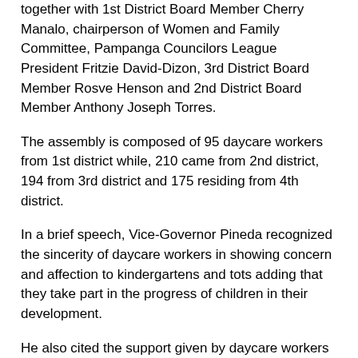together with 1st District Board Member Cherry Manalo, chairperson of Women and Family Committee, Pampanga Councilors League President Fritzie David-Dizon, 3rd District Board Member Rosve Henson and 2nd District Board Member Anthony Joseph Torres.
The assembly is composed of 95 daycare workers from 1st district while, 210 came from 2nd district, 194 from 3rd district and 175 residing from 4th district.
In a brief speech, Vice-Governor Pineda recognized the sincerity of daycare workers in showing concern and affection to kindergartens and tots adding that they take part in the progress of children in their development.
He also cited the support given by daycare workers in rendering assistance within short notice to those affected by typhoons during calamities.